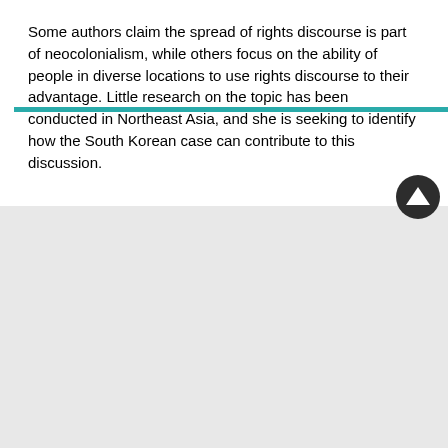Some authors claim the spread of rights discourse is part of neocolonialism, while others focus on the ability of people in diverse locations to use rights discourse to their advantage. Little research on the topic has been conducted in Northeast Asia, and she is seeking to identify how the South Korean case can contribute to this discussion.
[Figure (other): Teal horizontal divider bar]
[Figure (other): Dark circular up-arrow navigation button]